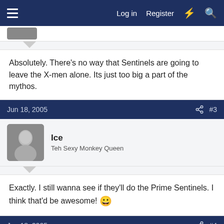Log in  Register
Absolutely. There's no way that Sentinels are going to leave the X-men alone. Its just too big a part of the mythos.
Jun 18, 2005   #3
Ice
Teh Sexy Monkey Queen
Exactly. I still wanna see if they'll do the Prime Sentinels. I think that'd be awesome! 😀
Jun 18, 2005   #4
Patriot Mk2
The poster formerly known as Johnny Bravo